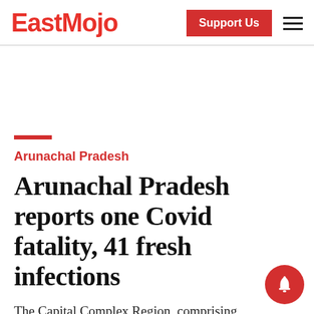EastMojo | Support Us
Arunachal Pradesh
Arunachal Pradesh reports one Covid fatality, 41 fresh infections
The Capital Complex Region, comprising